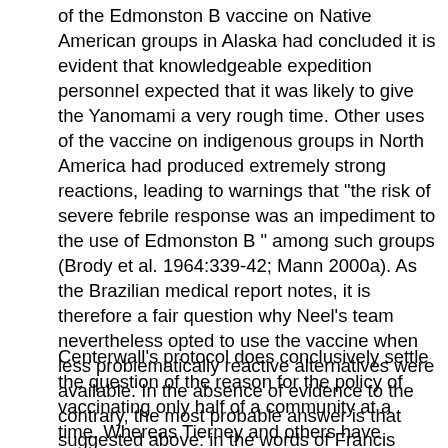of the Edmonston B vaccine on Native American groups in Alaska had concluded it is evident that knowledgeable expedition personnel expected that it was likely to give the Yanomami a very rough time. Other uses of the vaccine on indigenous groups in North America had produced extremely strong reactions, leading to warnings that "the risk of severe febrile response was an impediment to the use of Edmonston B " among such groups (Brody et al. 1964:339-42; Mann 2000a). As the Brazilian medical report notes, it is therefore a fair question why Neel's team nevertheless opted to use the vaccine when less problematically reactive alternatives were available. In the absence of evidence to the contrary, the most probable answer is that suggested above: in the words of Francis Black, Neel chose Edmonston B in spite of its drawbacks "because he could get it for free" (Mann 2000a:416).
Centerwall's protocol does conclusively settle the question of the reason for the policy of vaccinating only half of a community at a time. Whereas Tierney and others have suggested that this might have been an